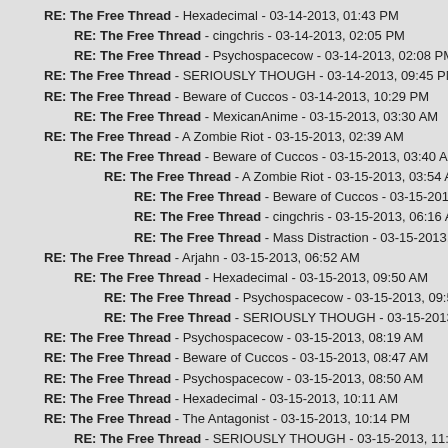RE: The Free Thread - Hexadecimal - 03-14-2013, 01:43 PM
RE: The Free Thread - cingchris - 03-14-2013, 02:05 PM
RE: The Free Thread - Psychospacecow - 03-14-2013, 02:08 PM
RE: The Free Thread - SERIOUSLY THOUGH - 03-14-2013, 09:45 PM
RE: The Free Thread - Beware of Cuccos - 03-14-2013, 10:29 PM
RE: The Free Thread - MexicanAnime - 03-15-2013, 03:30 AM
RE: The Free Thread - A Zombie Riot - 03-15-2013, 02:39 AM
RE: The Free Thread - Beware of Cuccos - 03-15-2013, 03:40 AM
RE: The Free Thread - A Zombie Riot - 03-15-2013, 03:54 AM
RE: The Free Thread - Beware of Cuccos - 03-15-2013, 06:08 AM
RE: The Free Thread - cingchris - 03-15-2013, 06:16 AM
RE: The Free Thread - Mass Distraction - 03-15-2013, 11:25 PM
RE: The Free Thread - Arjahn - 03-15-2013, 06:52 AM
RE: The Free Thread - Hexadecimal - 03-15-2013, 09:50 AM
RE: The Free Thread - Psychospacecow - 03-15-2013, 09:55 AM
RE: The Free Thread - SERIOUSLY THOUGH - 03-15-2013, 10:10 AM
RE: The Free Thread - Psychospacecow - 03-15-2013, 08:19 AM
RE: The Free Thread - Beware of Cuccos - 03-15-2013, 08:47 AM
RE: The Free Thread - Psychospacecow - 03-15-2013, 08:50 AM
RE: The Free Thread - Hexadecimal - 03-15-2013, 10:11 AM
RE: The Free Thread - The Antagonist - 03-15-2013, 10:14 PM
RE: The Free Thread - SERIOUSLY THOUGH - 03-15-2013, 11:12 PM
RE: The Free Thread - cingchris - 03-16-2013, 01:10 PM
RE: The Free Thread - Psychospacecow - 03-16-2013, 06:32 PM
RE: The Free Thread - MexicanAnime - 03-16-2013, 12:45 AM